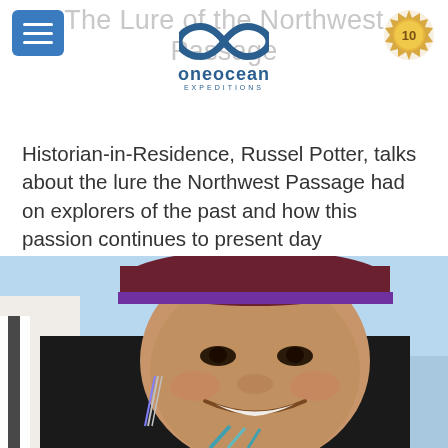The Lure of the Northwest Passage
[Figure (logo): One Ocean Expeditions logo with infinity symbol and text 'oneocean EXPEDITIONS']
[Figure (other): Gold badge/seal with the number 10]
Historian-in-Residence, Russel Potter, talks about the lure the Northwest Passage had on explorers of the past and how this passion continues to present day
[Figure (photo): Portrait of a smiling young Indigenous woman wearing traditional clothing including a dark fur-trimmed coat with white and black stripes, a beaded purple and dark red headband, and beaded earrings. The background is a light blue sky.]